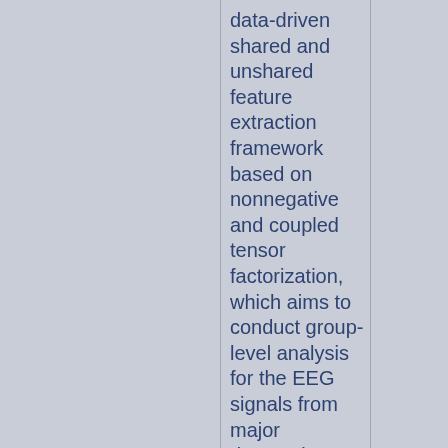data-driven shared and unshared feature extraction framework based on nonnegative and coupled tensor factorization, which aims to conduct group-level analysis for the EEG signals from major depression disorder (MDD)